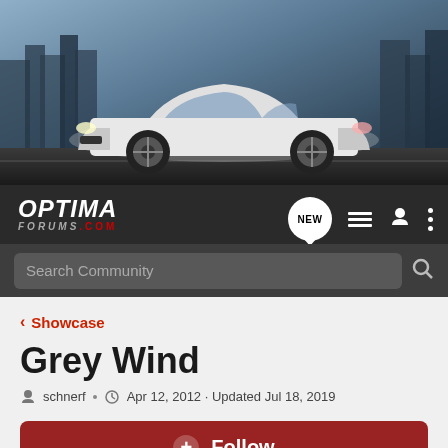[Figure (photo): Hero banner showing a white Kia Optima sedan driving on a road with a city skyline in the background, dark dramatic sky]
OPTIMA FORUMS.COM — navigation bar with NEW button, list icon, user icon, and menu icon
Search Community
< Showcase
Grey Wind
schnerf · Apr 12, 2012 · Updated Jul 18, 2019
+ Follow